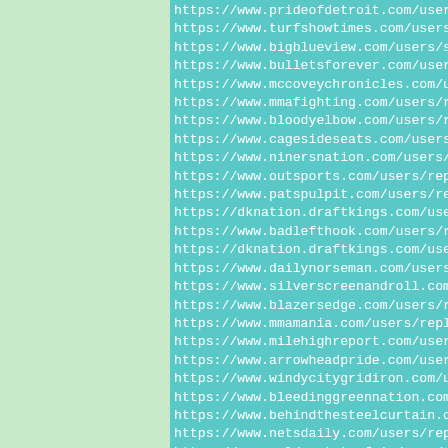https://www.prideofdetroit.com/users/styloma...
https://www.turfshowtimes.com/users/stylomat...
https://www.bigblueview.com/users/stylomatche...
https://www.bulletsforever.com/users/styloma...
https://www.mccoveychronicles.com/users/stylo...
https://www.mmafighting.com/users/replicawats...
https://www.bloodyelbow.com/users/replicawats...
https://www.cagesideseats.com/users/replicawe...
https://www.ninersnation.com/users/replicawa...
https://www.outsports.com/users/replicawatche...
https://www.patspulpit.com/users/replicawatch...
https://dknation.draftkings.com/users/replic...
https://www.badlefthook.com/users/replicawat...
https://dknation.draftkings.com/users/replica...
https://www.dailynorseman.com/users/replicawe...
https://www.silverscreenandroll.com/users/re...
https://www.blazersedge.com/users/replicawat...
https://www.mmamania.com/users/replicawatchh...
https://www.milehighreport.com/users/replicaw...
https://www.arrowheadpride.com/users/replicaw...
https://www.windycitygridiron.com/users/repl...
https://www.bleedinggreennation.com/users/re...
https://www.behindthesteelcurtain.com/users/...
https://www.netsdaily.com/users/replicawatche...
https://www.goldenstateofmind.com/users/repl...
https://www.bloggingtheboys.com/users/replica...
https://www.fieldgulls.com/users/replicawa...